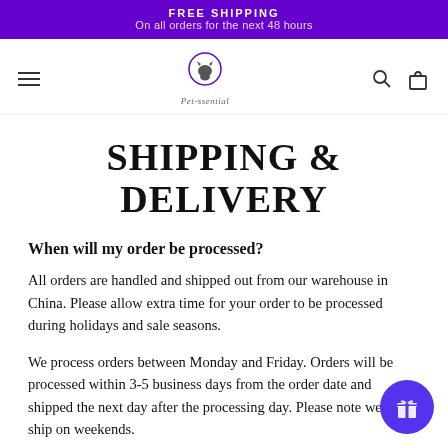FREE SHIPPING
On all orders for the next 48 hours
[Figure (logo): Pet-ssential brand logo with pet silhouette in circle]
SHIPPING & DELIVERY
When will my order be processed?
All orders are handled and shipped out from our warehouse in China. Please allow extra time for your order to be processed during holidays and sale seasons.
We process orders between Monday and Friday. Orders will be processed within 3-5 business days from the order date and shipped the next day after the processing day. Please note we don't ship on weekends.